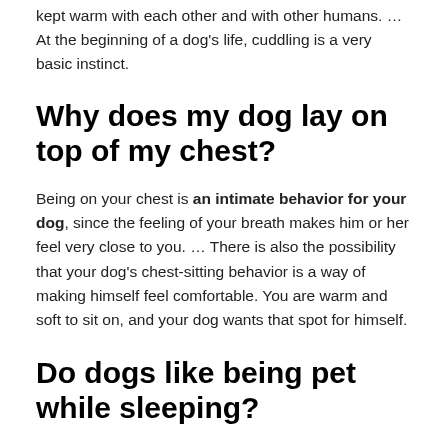kept warm with each other and with other humans. … At the beginning of a dog's life, cuddling is a very basic instinct.
Why does my dog lay on top of my chest?
Being on your chest is an intimate behavior for your dog, since the feeling of your breath makes him or her feel very close to you. … There is also the possibility that your dog's chest-sitting behavior is a way of making himself feel comfortable. You are warm and soft to sit on, and your dog wants that spot for himself.
Do dogs like being pet while sleeping?
If you notice your dog sleeping back-to-back with other pets or